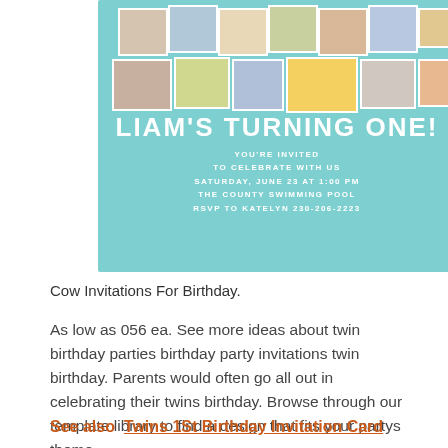[Figure (illustration): Birthday invitation card with teal/turquoise background. Top section has a collage of baby photos arranged in rows. Center shows large white bold text 'LIAM'S TURNING ONE!' followed by smaller text: 'YOU'RE INVITED / TO CELEBRATE WITH US / SATURDAY, JUNE 23 AT 1:00 PM / THE COUNTY SWIMMING POOL / RSVP TO KATELYN 230-206-2223']
Cow Invitations For Birthday.
As low as 056 ea. See more ideas about twin birthday parties birthday party invitations twin birthday. Parents would often go all out in celebrating their twins birthday. Browse through our template library to find a design that fits your partys theme.
See also  Twins 1St Birthday Invitation Card